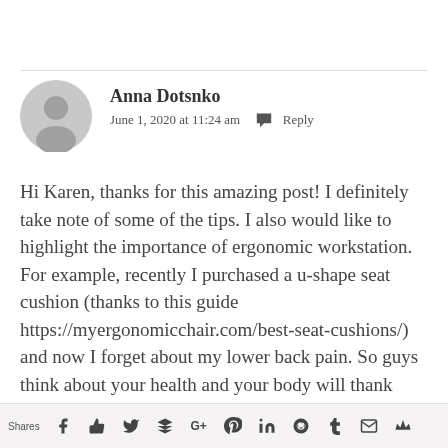Anna Dotsnko
June 1, 2020 at 11:24 am   Reply
Hi Karen, thanks for this amazing post! I definitely take note of some of the tips. I also would like to highlight the importance of ergonomic workstation. For example, recently I purchased a u-shape seat cushion (thanks to this guide https://myergonomicchair.com/best-seat-cushions/) and now I forget about my lower back pain. So guys think about your health and your body will thank you.
Shares  [social share icons]